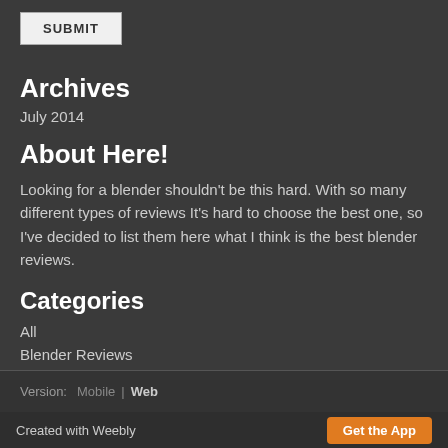SUBMIT
Archives
July 2014
About Here!
Looking for a blender shouldn't be this hard. With so many different types of reviews It's hard to choose the best one, so I've decided to list them here what I think is the best blender reviews.
Categories
All
Blender Reviews
Intro
RSS Feed
Version: Mobile | Web
Created with Weebly  Get the App